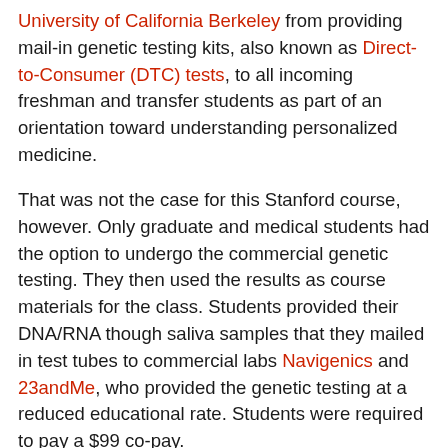University of California Berkeley from providing mail-in genetic testing kits, also known as Direct-to-Consumer (DTC) tests, to all incoming freshman and transfer students as part of an orientation toward understanding personalized medicine.
That was not the case for this Stanford course, however. Only graduate and medical students had the option to undergo the commercial genetic testing. They then used the results as course materials for the class. Students provided their DNA/RNA though saliva samples that they mailed in test tubes to commercial labs Navigenics and 23andMe, who provided the genetic testing at a reduced educational rate. Students were required to pay a $99 co-pay.
Predictably, some quickly spoke out about the welfare and reactions of the students as they learned the results of their own genetic test.